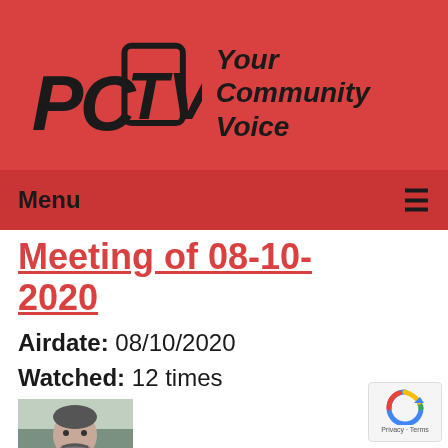[Figure (logo): PCTV logo with stylized PC and TV in a box shape, and tagline 'Your Community Voice' on red background]
Menu ≡
Meeting of 08-10-2020
Airdate: 08/10/2020
Watched: 12 times
[Figure (photo): Thumbnail photo of a middle-aged man with a beard, photographed outdoors]
The Village Board Meeting of 07-07-20...